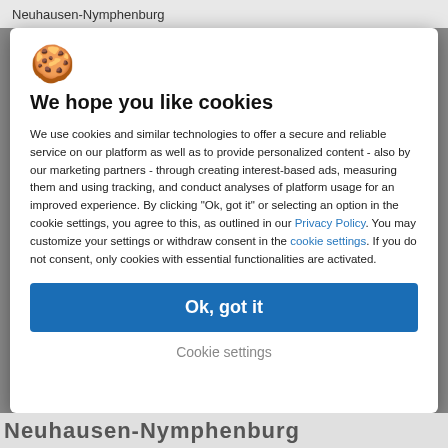Neuhausen-Nymphenburg
[Figure (illustration): Cookie emoji icon (🍪)]
We hope you like cookies
We use cookies and similar technologies to offer a secure and reliable service on our platform as well as to provide personalized content - also by our marketing partners - through creating interest-based ads, measuring them and using tracking, and conduct analyses of platform usage for an improved experience. By clicking "Ok, got it" or selecting an option in the cookie settings, you agree to this, as outlined in our Privacy Policy. You may customize your settings or withdraw consent in the cookie settings. If you do not consent, only cookies with essential functionalities are activated.
Ok, got it
Cookie settings
Neuhausen-Nymphenburg